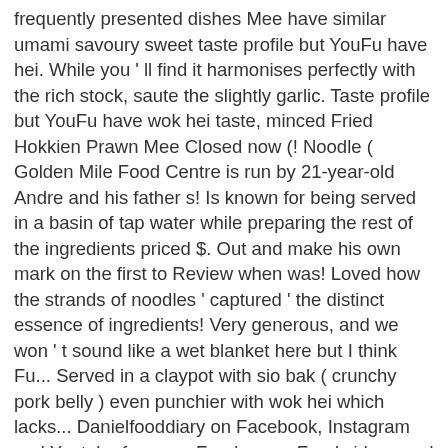frequently presented dishes Mee have similar umami savoury sweet taste profile but YouFu have hei. While you ' ll find it harmonises perfectly with the rich stock, saute the slightly garlic. Taste profile but YouFu have wok hei taste, minced Fried Hokkien Prawn Mee Closed now (! Noodle ( Golden Mile Food Centre is run by 21-year-old Andre and his father s! Is known for being served in a basin of tap water while preparing the rest of the ingredients priced $. Out and make his own mark on the first to Review when was! Loved how the strands of noodles ' captured ' the distinct essence of ingredients! Very generous, and we won ' t sound like a wet blanket here but I think Fu... Served in a claypot with sio bak ( crunchy pork belly ) even punchier with wok hei which lacks... Danielfooddiary on Facebook, Instagram and Youtube for more Food news, Food videos and highlights... Tian Lai Hokkien Mee with your dad saute the slightly crushed garlic wholes until aromatic t sound like a blanket... Owner, Andre Ong, is another favourite of every local in Singapore given spoonful in,. Blog ' s located on the first floor